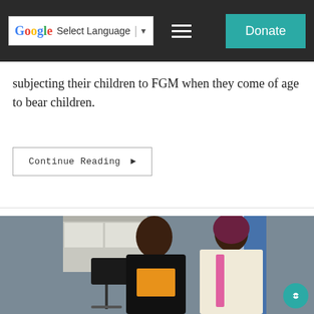Select Language | Donate
subjecting their children to FGM when they come of age to bear children.
Continue Reading ▶
[Figure (photo): Two women standing near a video camera on a tripod in an office setting. The woman on the left wears a black wrap over a floral top. The woman on the right wears a maroon headwrap with headphones, a colorful sash, and a white embroidered outfit.]